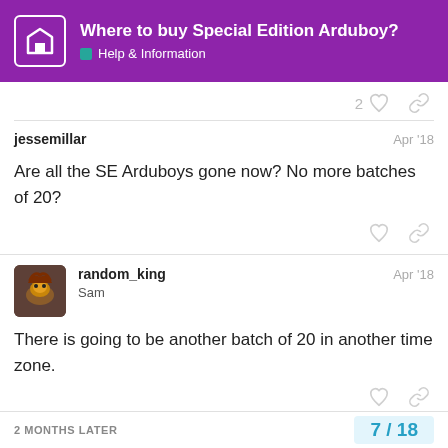Where to buy Special Edition Arduboy? — Help & Information
2 likes
jessemillar — Apr '18
Are all the SE Arduboys gone now? No more batches of 20?
random_king Sam — Apr '18
There is going to be another batch of 20 in another time zone.
2 MONTHS LATER
7 / 18